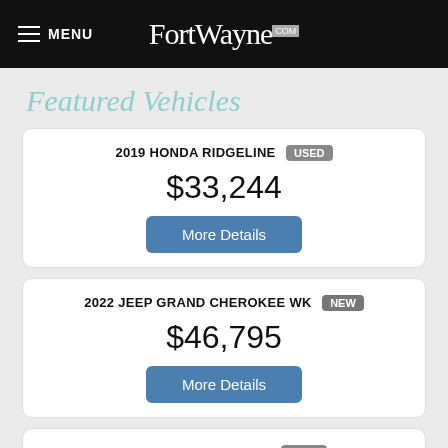MENU | FortWayne.com
Featured Vehicles
2019 HONDA RIDGELINE USED $33,244
2022 JEEP GRAND CHEROKEE WK NEW $46,795
2019 FORD EXPLORER USED $44,895